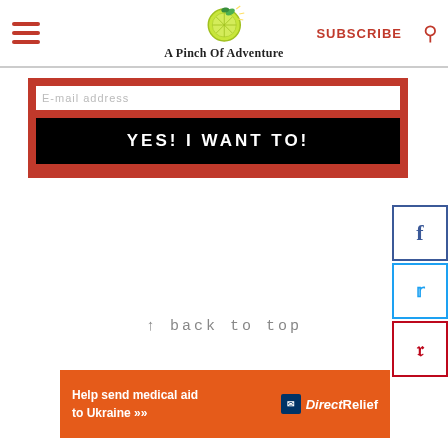A Pinch Of Adventure — SUBSCRIBE
[Figure (screenshot): Red subscription form with white input bar and black YES! I WANT TO! button]
[Figure (screenshot): Social media share buttons: Facebook, Twitter, Pinterest on right side]
↑ back to top
[Figure (infographic): Orange Direct Relief ad banner: Help send medical aid to Ukraine >>]